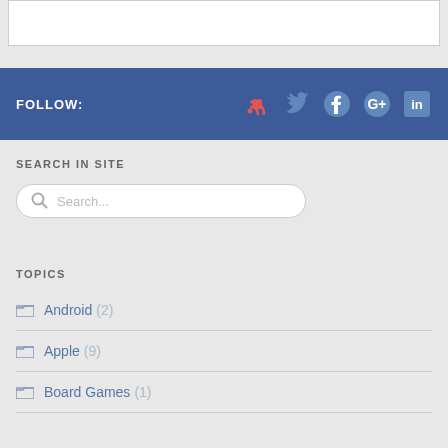[Figure (screenshot): Top portion of a white content box on gray background]
FOLLOW:
[Figure (infographic): Social media icons: RSS (red), Twitter, Facebook, Google+, LinkedIn on blue bar]
SEARCH IN SITE
[Figure (screenshot): Search input box with magnifying glass icon and placeholder text 'Search...']
TOPICS
Android (2)
Apple (9)
Board Games (1)